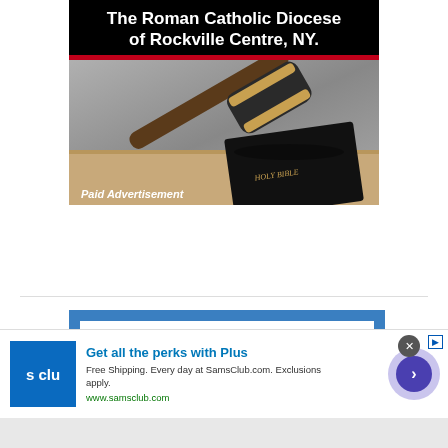[Figure (illustration): Paid advertisement banner for The Roman Catholic Diocese of Rockville Centre, NY, with black background title text, a red bar, and a photo of a judge's gavel resting on a Holy Bible]
[Figure (illustration): Advertisement for Great Northern Mortgage Corporation with blue background, company logo, and text: SELF EMPLOYED AND DO NOT SHOW ENOUGH INCOME? * WE HAVE MORTGAGE OPTIONS FOR YOU!]
[Figure (illustration): Sam's Club ad banner: Get all the perks with Plus. Free Shipping. Every day at SamsClub.com. Exclusions apply. www.samsclub.com]